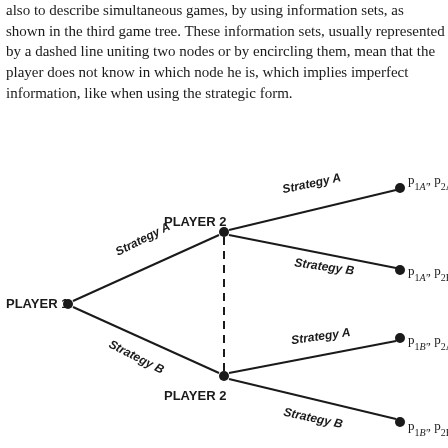also to describe simultaneous games, by using information sets, as shown in the third game tree. These information sets, usually represented by a dashed line uniting two nodes or by encircling them, mean that the player does not know in which node he is, which implies imperfect information, like when using the strategic form.
[Figure (other): Game tree showing a simultaneous game with information sets. PLAYER 1 on the left chooses Strategy A or Strategy B. Strategy A leads to PLAYER 2 (top node), Strategy B leads to PLAYER 2 (bottom node). The two PLAYER 2 nodes are connected by a dashed line (information set). From top PLAYER 2: Strategy A leads to p_1A', p_2A; Strategy B leads to p_1A', p_2B. From bottom PLAYER 2: Strategy A leads to p_1B', p_2A; Strategy B leads to p_1B', p_2B.]